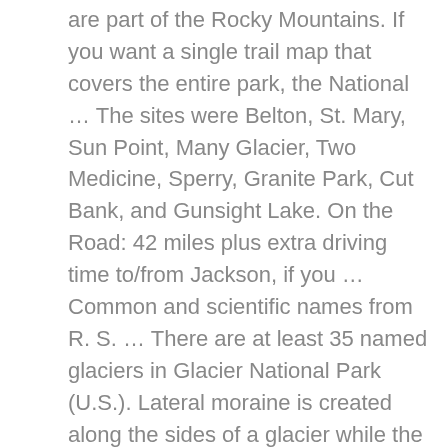are part of the Rocky Mountains. If you want a single trail map that covers the entire park, the National … The sites were Belton, St. Mary, Sun Point, Many Glacier, Two Medicine, Sperry, Granite Park, Cut Bank, and Gunsight Lake. On the Road: 42 miles plus extra driving time to/from Jackson, if you … Common and scientific names from R. S. … There are at least 35 named glaciers in Glacier National Park (U.S.). Lateral moraine is created along the sides of a glacier while the terminal moraine is created at the foot of the glacier. Since the latest interglacial period began 10,000 years ago, there have been regular climate shifts causing periods of glacier growth or melt-back. Since the latest interglacial period began 10,000 years ago, there have been regular climate shifts causing periods of glacier growth or melt-back. Fascinating stories behind 663 names in Glacier National Park and Waterton Lakes National Park in